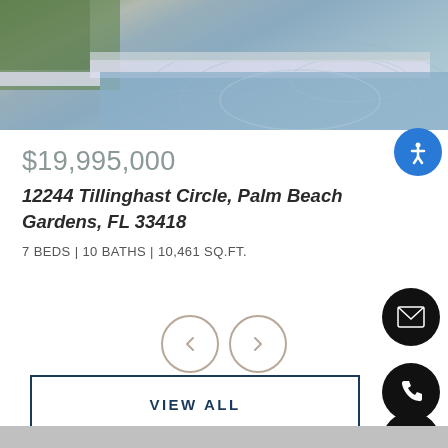[Figure (photo): Aerial/top-down view of a luxury pool area with stone/tile pavers and surrounding greenery]
$19,995,000
12244 Tillinghast Circle, Palm Beach Gardens, FL 33418
7 BEDS | 10 BATHS | 10,461 SQ.FT.
VIEW ALL